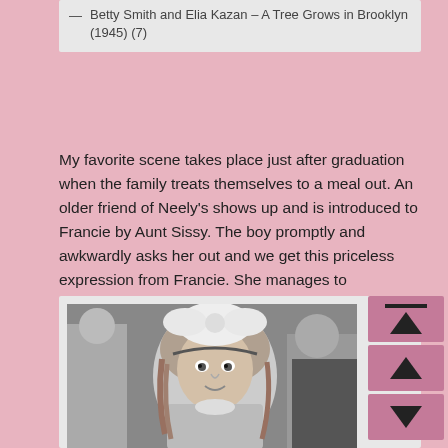— Betty Smith and Elia Kazan – A Tree Grows in Brooklyn (1945) (7)
My favorite scene takes place just after graduation when the family treats themselves to a meal out. An older friend of Neely's shows up and is introduced to Francie by Aunt Sissy. The boy promptly and awkwardly asks her out and we get this priceless expression from Francie. She manages to remember Sissy's advice though and composes herself so she does not appear too eager.
[Figure (photo): Black and white photograph of a young girl with a large white bow in her hair, looking upward with a surprised or awed expression. People visible in the background.]